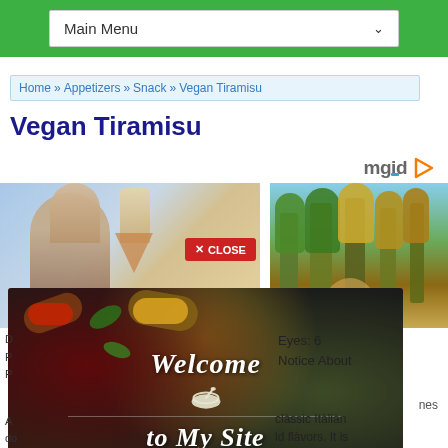Main Menu
Home » Appetizers » Snack » Vegan Tiramisu
Vegan Tiramisu
[Figure (screenshot): Screenshot of a recipe website showing ads, a spices/welcome overlay image, a forest image, and partial article text about Vegan Tiramisu]
Eyes: 6 Notice About
classic Itàliàn dèld flàvors. It is